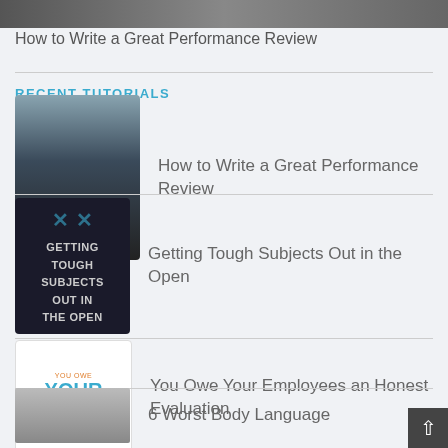[Figure (photo): Top banner image strip (dark photo, partially visible)]
How to Write a Great Performance Review
RECENT TUTORIALS
[Figure (photo): Thumbnail image with city skyline at sunset and text WRITE]
How to Write a Great Performance Review
[Figure (photo): Dark thumbnail with text: GETTING TOUGH SUBJECTS OUT IN THE OPEN]
Getting Tough Subjects Out in the Open
[Figure (photo): White book cover thumbnail with text: YOU OWE YOUR HONEST EVALUATION]
You Owe Your Employees an Honest Evaluation
[Figure (photo): Partial thumbnail image (gray/dark)]
6 Worst Body Language